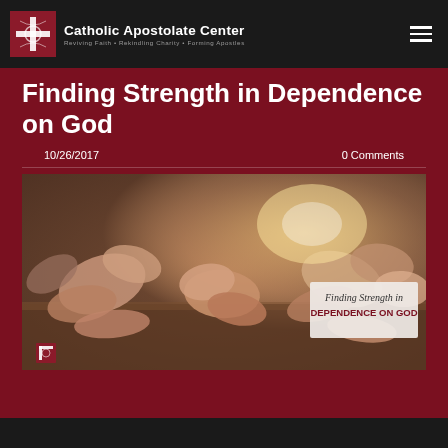Catholic Apostolate Center — Reviving Faith • Rekindling Charity • Forming Apostles
Finding Strength in Dependence on God
10/26/2017    0 Comments
[Figure (photo): Photo of people holding hands around a table, with an overlaid text box reading 'Finding Strength in DEPENDENCE ON GOD' and a small Catholic Apostolate Center logo in the bottom-left corner.]